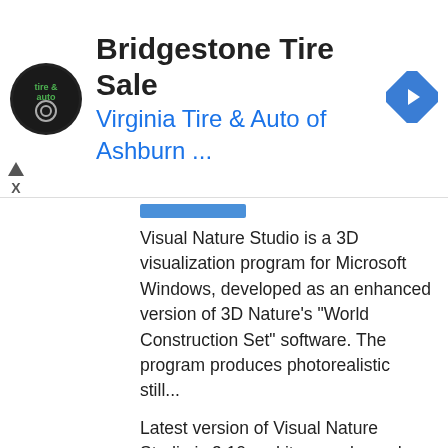[Figure (screenshot): Ad banner for Bridgestone Tire Sale featuring Virginia Tire & Auto of Ashburn logo and navigation icon]
Bridgestone Tire Sale
Virginia Tire & Auto of Ashburn ...
Visual Nature Studio is a 3D visualization program for Microsoft Windows, developed as an enhanced version of 3D Nature's "World Construction Set" software. The program produces photorealistic still...
Latest version of Visual Nature Studio is 3.10 and it was released on Feb 23, 2015.
Tags: 3d Graphics Software, Gis Software
BricsCAD
Windows  Linux  Mac
BricsCAD is a software application for computer-aided design (CAD) developed by